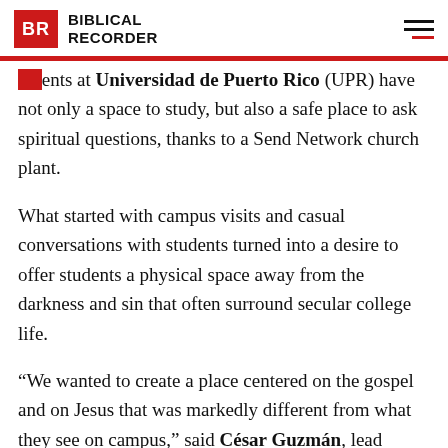BR BIBLICAL RECORDER
ents at Universidad de Puerto Rico (UPR) have not only a space to study, but also a safe place to ask spiritual questions, thanks to a Send Network church plant.
What started with campus visits and casual conversations with students turned into a desire to offer students a physical space away from the darkness and sin that often surround secular college life.
“We wanted to create a place centered on the gospel and on Jesus that was markedly different from what they see on campus,” said César Guzmán, lead pastor at Iglesia Bautista Sobre la Roca, which was planted